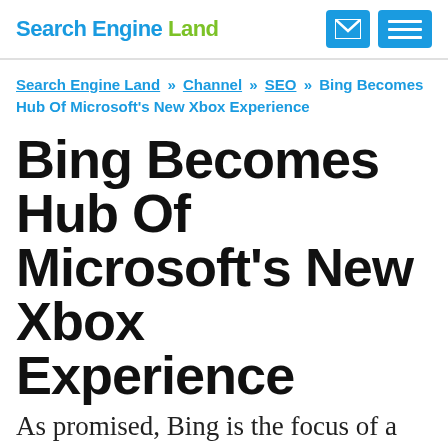Search Engine Land
Search Engine Land » Channel » SEO » Bing Becomes Hub Of Microsoft's New Xbox Experience
Bing Becomes Hub Of Microsoft's New Xbox Experience
As promised, Bing is the focus of a new Xbox experience that's launching this week. Beginning on Tuesday, Xbox is